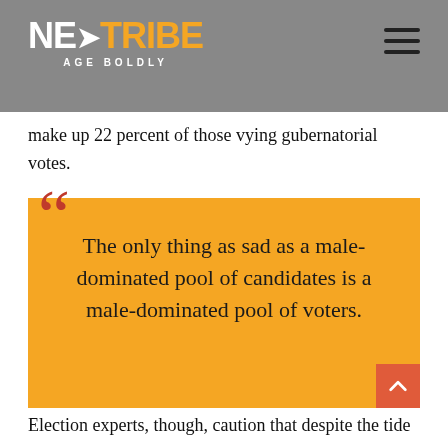NEXTTRIBE AGE BOLDLY
make up 22 percent of those vying gubernatorial votes.
[Figure (other): Pull quote on yellow background with red quotation marks: 'The only thing as sad as a male-dominated pool of candidates is a male-dominated pool of voters.']
Election experts, though, caution that despite the tide